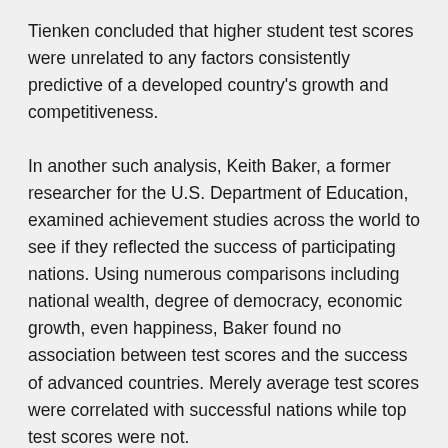Tienken concluded that higher student test scores were unrelated to any factors consistently predictive of a developed country's growth and competitiveness.
In another such analysis, Keith Baker, a former researcher for the U.S. Department of Education, examined achievement studies across the world to see if they reflected the success of participating nations. Using numerous comparisons including national wealth, degree of democracy, economic growth, even happiness, Baker found no association between test scores and the success of advanced countries. Merely average test scores were correlated with successful nations while top test scores were not.
Baker explains, "In short, the higher a nation's test score 40 years ago, the worse its economic performance." He